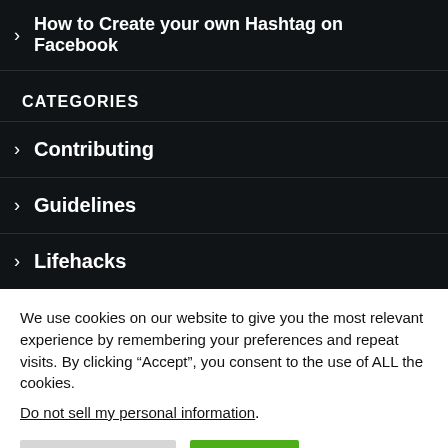> How to Create your own Hashtag on Facebook
CATEGORIES
> Contributing
> Guidelines
> Lifehacks
We use cookies on our website to give you the most relevant experience by remembering your preferences and repeat visits. By clicking “Accept”, you consent to the use of ALL the cookies.
Do not sell my personal information.
Cookie Settings | Accept